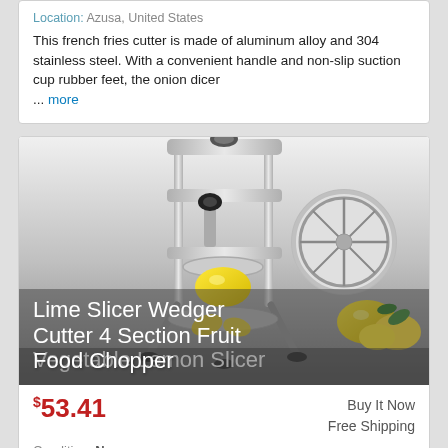Location: Azusa, United States
This french fries cutter is made of aluminum alloy and 304 stainless steel. With a convenient handle and non-slip suction cup rubber feet, the onion dicer ... more
[Figure (photo): Lime Slicer Wedger Cutter 4 Section Fruit Vegetable Lemon Slicer Food Chopper product image showing a metal fruit/vegetable slicer machine with lemons and a circular blade insert]
Lime Slicer Wedger Cutter 4 Section Fruit Vegetable Lemon Slicer Food Chopper
$53.41
Buy It Now
Free Shipping
Condition: New